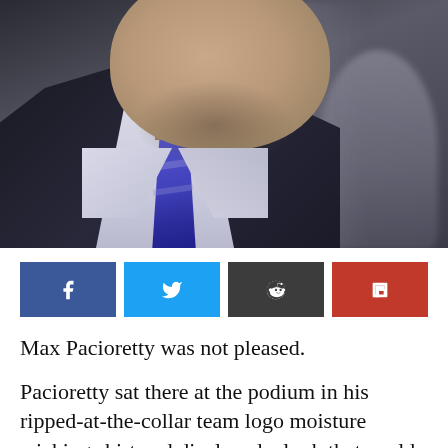[Figure (photo): A man in a dark suit with a blue-striped tie and white dress shirt, photographed from below the chin showing the collar area. A blurred figure is visible in the background to the right.]
[Figure (infographic): Four social media share buttons in a row: Facebook (dark blue, 'f' icon), Twitter (light blue, bird icon), Reddit (dark gray, alien icon), Flipboard (red, 'f' icon)]
Max Pacioretty was not pleased.
Pacioretty sat there at the podium in his ripped-at-the-collar team logo moisture wicking shirt and displayed a look that could be described as sour. The questions